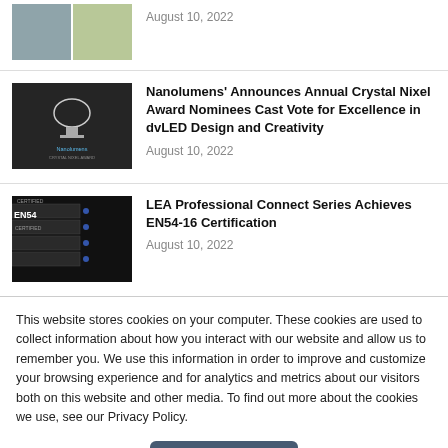[Figure (photo): Partial news item thumbnail showing two images side by side: stairs/railing on left, green outdoor area on right]
August 10, 2022
[Figure (photo): Nanolumens Crystal Nixel Award logo on dark background]
Nanolumens' Announces Annual Crystal Nixel Award Nominees Cast Vote for Excellence in dvLED Design and Creativity
August 10, 2022
[Figure (photo): EN54 certified audio equipment rack on dark background]
LEA Professional Connect Series Achieves EN54-16 Certification
August 10, 2022
This website stores cookies on your computer. These cookies are used to collect information about how you interact with our website and allow us to remember you. We use this information in order to improve and customize your browsing experience and for analytics and metrics about our visitors both on this website and other media. To find out more about the cookies we use, see our Privacy Policy.
Accept